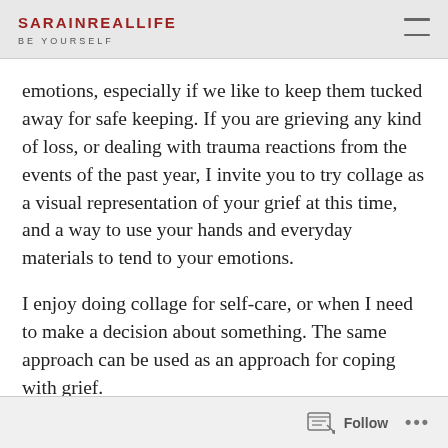SARAINREALLIFE / BE YOURSELF
emotions, especially if we like to keep them tucked away for safe keeping. If you are grieving any kind of loss, or dealing with trauma reactions from the events of the past year, I invite you to try collage as a visual representation of your grief at this time, and a way to use your hands and everyday materials to tend to your emotions.
I enjoy doing collage for self-care, or when I need to make a decision about something. The same approach can be used as an approach for coping with grief.
First, gather your materials:
Follow ...